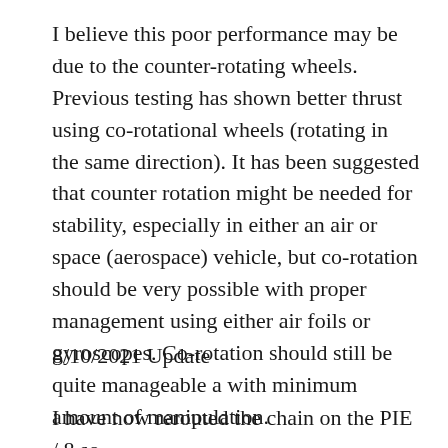I believe this poor performance may be due to the counter-rotating wheels. Previous testing has shown better thrust using co-rotational wheels (rotating in the same direction). It has been suggested that counter rotation might be needed for stability, especially in either an air or space (aerospace) vehicle, but co-rotation should be very possible with proper management using either air foils or gyroscopes. Co-rotation should still be quite manageable a with minimum amount of manipulation.
8/10/2021 Update
I have now rerouted the chain on the PIE / 8 so